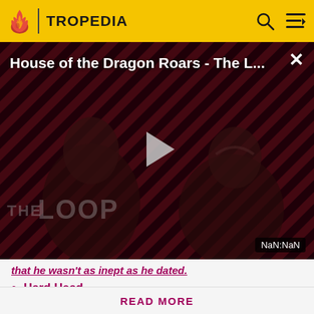TROPEDIA
[Figure (screenshot): Video player showing 'House of the Dragon Roars - The L...' with a play button, two figures visible in the background, diagonal striped pattern in red and black, 'THE LOOP' text, and 'NaN:NaN' timestamp badge. Close button (×) in top right.]
that he wasn't as inept as he dated.
Hard Head
Before making a single edit, Tropedia EXPECTS our site policy and manual of style to be followed. Failure to do so may
READ MORE